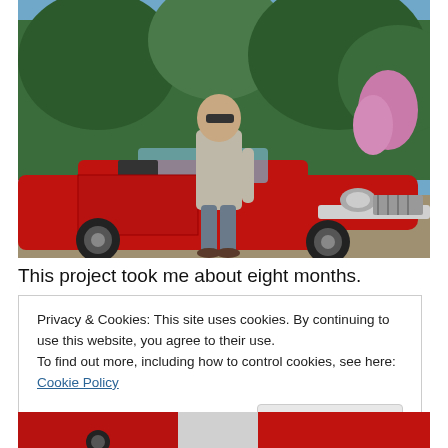[Figure (photo): A man in sunglasses and a light gray shirt standing in front of a red classic Ford Mustang convertible, outdoors with trees and flowers in the background on a sunny day.]
This project took me about eight months.
Privacy & Cookies: This site uses cookies. By continuing to use this website, you agree to their use.
To find out more, including how to control cookies, see here: Cookie Policy
[Figure (photo): Partial view of a red classic Ford Mustang, cropped at the bottom of the page.]